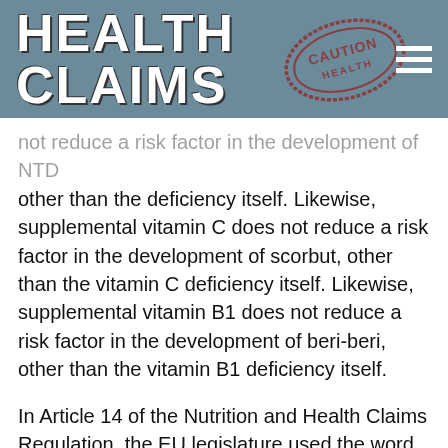HEALTH CLAIMS
not reduce a risk factor in the development of NTD other than the deficiency itself. Likewise, supplemental vitamin C does not reduce a risk factor in the development of scorbut, other than the vitamin C deficiency itself. Likewise, supplemental vitamin B1 does not reduce a risk factor in the development of beri-beri, other than the vitamin B1 deficiency itself.
In Article 14 of the Nutrition and Health Claims Regulation, the EU legislature used the word “risk factor” to create a minute but legally justifiable difference between disease-risk-reduction and disease prevention. In the prevention of diseases, there is a direct and causal relationship between the preventive measure and the occurence of the disease. Preventive medicine or preventive care consists of measures taken to...